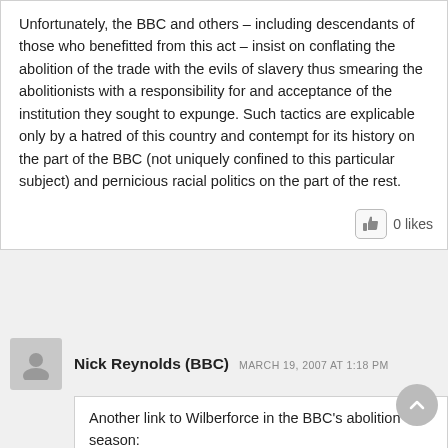Unfortunately, the BBC and others – including descendants of those who benefitted from this act – insist on conflating the abolition of the trade with the evils of slavery thus smearing the abolitionists with a responsibility for and acceptance of the institution they sought to expunge. Such tactics are explicable only by a hatred of this country and contempt for its history on the part of the BBC (not uniquely confined to this particular subject) and pernicious racial politics on the part of the rest.
0 likes
Nick Reynolds (BBC)  MARCH 19, 2007 AT 1:18 PM
Another link to Wilberforce in the BBC's abolition season:
http://www.bbc.co.uk/bradford/content/articles/2007/03/01/wili...
Listen again to Melvyn Bragg's Wilberforce programme: